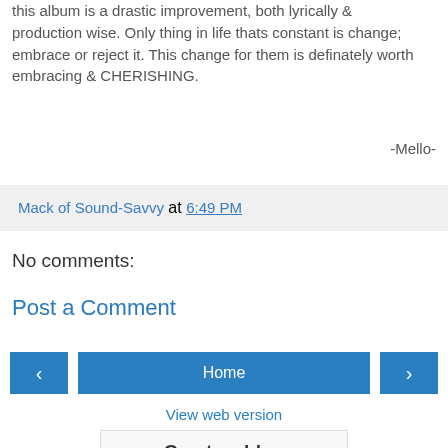this album is a drastic improvement, both lyrically & production wise. Only thing in life thats constant is change; embrace or reject it. This change for them is definately worth embracing & CHERISHING.
-Mello-
Mack of Sound-Savvy at 6:49 PM
No comments:
Post a Comment
Home
View web version
Create a blog